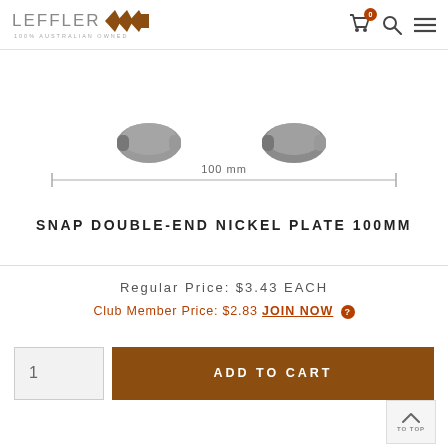LEFFLER 100% AUSTRALIAN OWNED
[Figure (photo): Product photo of Snap Double-End Nickel Plate 100mm hardware item showing two metal snap clips, with a dimension line indicating 100 mm width]
SNAP DOUBLE-END NICKEL PLATE 100MM
Regular Price: $3.43 EACH
Club Member Price: $2.83 JOIN NOW
ADD TO CART